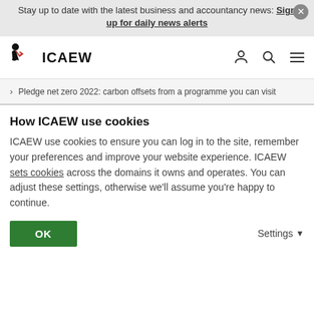Stay up to date with the latest business and accountancy news: Sign up for daily news alerts
[Figure (logo): ICAEW logo with stylized figure and red chevron]
> Pledge net zero 2022: carbon offsets from a programme you can visit
How ICAEW use cookies
ICAEW use cookies to ensure you can log in to the site, remember your preferences and improve your website experience. ICAEW sets cookies across the domains it owns and operates. You can adjust these settings, otherwise we'll assume you're happy to continue.
OK
Settings